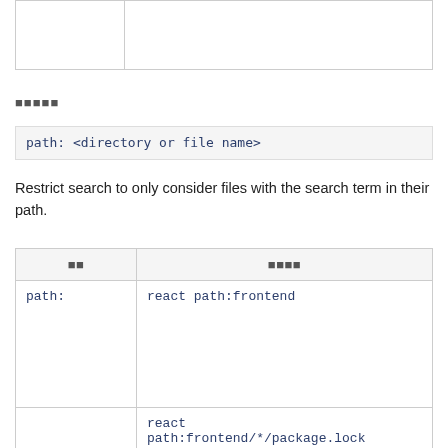|  |  |
■■■■■
path: <directory or file name>
Restrict search to only consider files with the search term in their path.
| ■■ | ■■■■ |
| --- | --- |
| path: | react path:frontend |
|  | react path:frontend/*/package.lock |